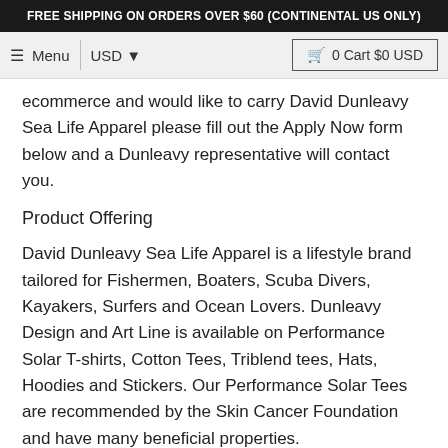FREE SHIPPING ON ORDERS OVER $60 (CONTINENTAL US ONLY)
≡ Menu | USD ▾   🛒 0 Cart $0 USD
ecommerce and would like to carry David Dunleavy Sea Life Apparel please fill out the Apply Now form below and a Dunleavy representative will contact you.
Product Offering
David Dunleavy Sea Life Apparel is a lifestyle brand tailored for Fishermen, Boaters, Scuba Divers, Kayakers, Surfers and Ocean Lovers. Dunleavy Design and Art Line is available on Performance Solar T-shirts, Cotton Tees, Triblend tees, Hats, Hoodies and Stickers. Our Performance Solar Tees are recommended by the Skin Cancer Foundation and have many beneficial properties.
Product Footprint